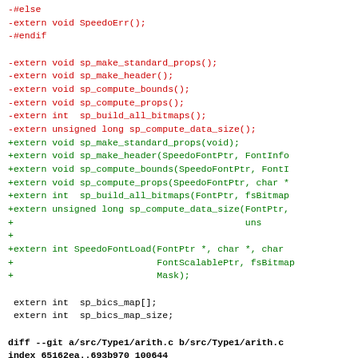-#else
-extern void SpeedoErr();
-#endif

-extern void sp_make_standard_props();
-extern void sp_make_header();
-extern void sp_compute_bounds();
-extern void sp_compute_props();
-extern int  sp_build_all_bitmaps();
-extern unsigned long sp_compute_data_size();
+extern void sp_make_standard_props(void);
+extern void sp_make_header(SpeedoFontPtr, FontInfo
+extern void sp_compute_bounds(SpeedoFontPtr, FontI
+extern void sp_compute_props(SpeedoFontPtr, char *
+extern int  sp_build_all_bitmaps(FontPtr, fsBitmap
+extern unsigned long sp_compute_data_size(FontPtr,
+                                          uns
+
+extern int SpeedoFontLoad(FontPtr *, char *, char
+                          FontScalablePtr, fsBitmap
+                          Mask);

 extern int  sp_bics_map[];
 extern int  sp_bics_map_size;

diff --git a/src/Type1/arith.c b/src/Type1/arith.c
index 65162ea..693b970 100644
--- a/src/Type1/arith.c
+++ b/src/Type1/arith.c
@@ -26,6 +26,8 @@
[Figure (screenshot): Code diff showing removed and added extern function declarations in C header file, followed by a git diff header for src/Type1/arith.c]